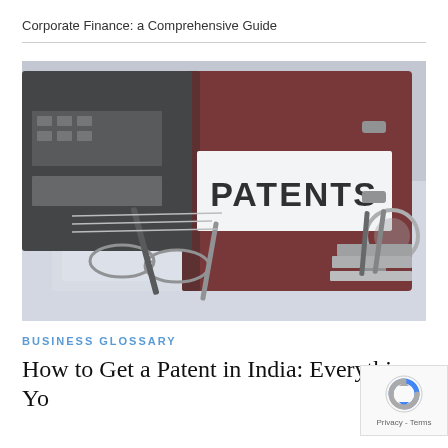Corporate Finance: a Comprehensive Guide
[Figure (photo): A dark red binder labeled 'PATENTS' in bold black text on a white label, surrounded by glasses, pens, and documents on a desk. The image has a cool blue-grey color tone.]
BUSINESS GLOSSARY
How to Get a Patent in India: Everything You